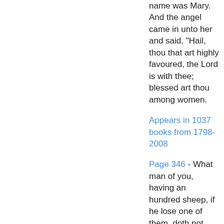name was Mary. And the angel came in unto her and said, "Hail, thou that art highly favoured, the Lord is with thee; blessed art thou among women.
Appears in 1037 books from 1798-2008
Page 346 - What man of you, having an hundred sheep, if he lose one of them, doth not leave the ninety and nine in the wilderness, and go after that which is lost, until he find it?
Appears in 1014 books from 1755-2008
Page 20 - But thou, Beth-lehem Ephratah, though thou be little